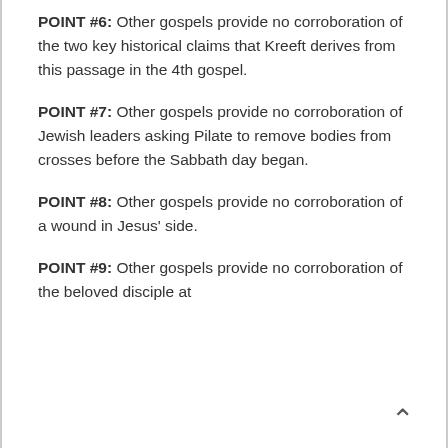POINT #6: Other gospels provide no corroboration of the two key historical claims that Kreeft derives from this passage in the 4th gospel.
POINT #7: Other gospels provide no corroboration of Jewish leaders asking Pilate to remove bodies from crosses before the Sabbath day began.
POINT #8: Other gospels provide no corroboration of a wound in Jesus' side.
POINT #9: Other gospels provide no corroboration of the beloved disciple at